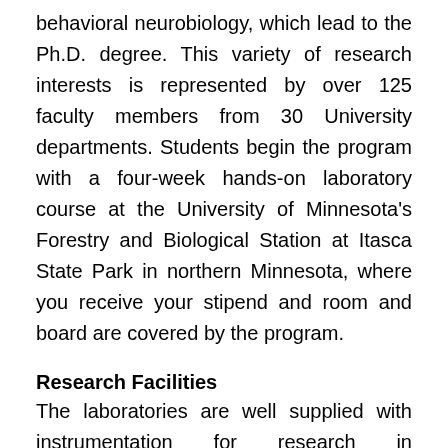behavioral neurobiology, which lead to the Ph.D. degree. This variety of research interests is represented by over 125 faculty members from 30 University departments. Students begin the program with a four-week hands-on laboratory course at the University of Minnesota's Forestry and Biological Station at Itasca State Park in northern Minnesota, where you receive your stipend and room and board are covered by the program.
Research Facilities
The laboratories are well supplied with instrumentation for research in neuroscience. Laboratories with specific research goals have a variety of special equipment. Facilities available at the University include PET imaging, extensive